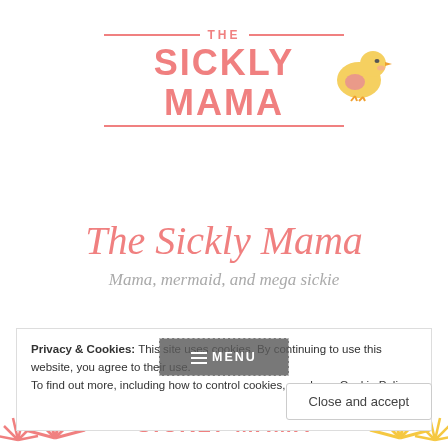[Figure (logo): The Sickly Mama logo with pink text, horizontal lines, and a yellow chick illustration]
The Sickly Mama
Mama, mermaid, and mega sickie
Privacy & Cookies: This site uses cookies. By continuing to use this website, you agree to their use.
To find out more, including how to control cookies, see here: Cookie Policy
[Figure (screenshot): MENU button overlay with dashed border on dark background]
Close and accept
[Figure (logo): Bottom decorative strip with The Sickly Mama logo repeated, sunburst icons in pink and yellow]